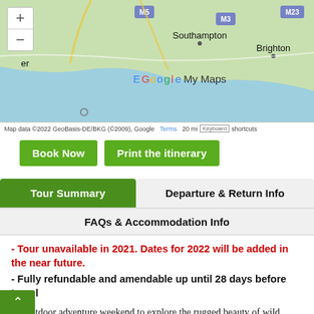[Figure (map): Google My Maps showing southern England including Southampton, Brighton, M5, M3, M23 motorway labels. Green terrain map with zoom controls.]
Map data ©2022 GeoBasis-DE/BKG (©2009), Google   Terms   20 mi   shortcuts
Book Now   Print the itinerary
Tour Summary   Departure & Return Info   FAQs & Accommodation Info
– Tour unavailable in 2021. Dates for 2022 will be added in the near future.
– Fully refundable and amendable up until 28 days before travel
An outdoor adventure weekend to explore the rugged beauty of wild Wales! This weekend in Wales includes a day of sightseeing in Wales and a mornings horse riding